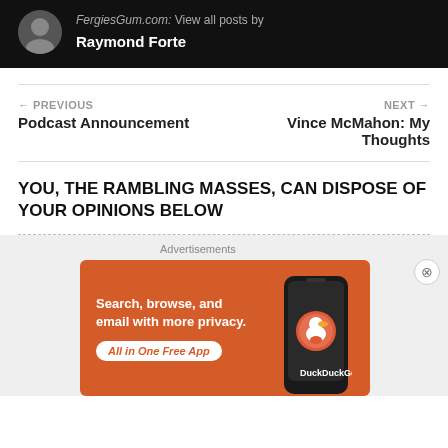[Figure (other): Author profile bar with avatar, site link 'FergiesGum.com:' and text 'View all posts by Raymond Forte' on dark background]
← PREVIOUS
Podcast Announcement
NEXT →
Vince McMahon: My Thoughts
YOU, THE RAMBLING MASSES, CAN DISPOSE OF YOUR OPINIONS BELOW
[Figure (other): DuckDuckGo advertisement banner: orange background with text 'Search, browse, and email with more privacy. All in One Free App' and DuckDuckGo logo with phone graphic]